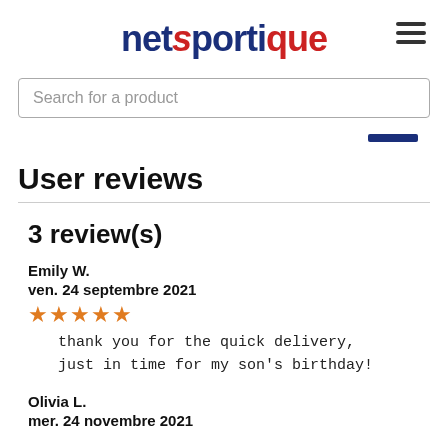netsportique
Search for a product
User reviews
3 review(s)
Emily W.
ven. 24 septembre 2021
★★★★★
thank you for the quick delivery, just in time for my son's birthday!
Olivia L.
mer. 24 novembre 2021